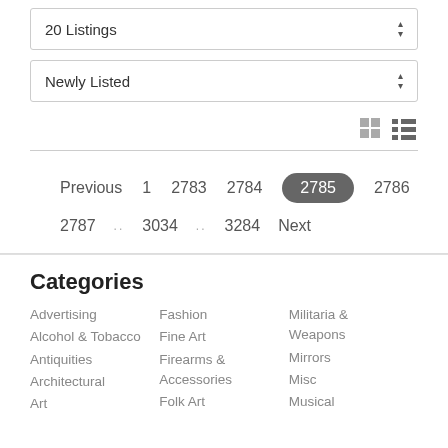20 Listings
Newly Listed
Previous  1  2783  2784  2785  2786  2787  ..  3034  ..  3284  Next
Categories
Advertising
Alcohol & Tobacco
Antiquities
Architectural
Art
Fashion
Fine Art
Firearms & Accessories
Folk Art
Militaria & Weapons
Mirrors
Misc
Musical